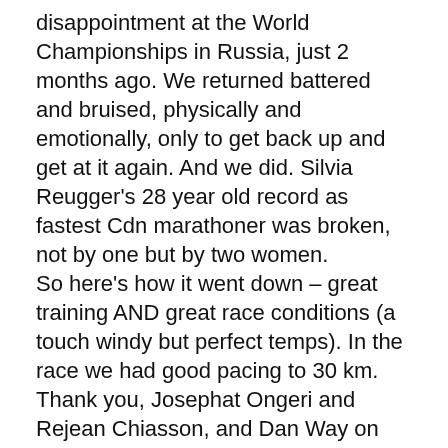disappointment at the World Championships in Russia, just 2 months ago. We returned battered and bruised, physically and emotionally, only to get back up and get at it again. And we did. Silvia Reugger's 28 year old record as fastest Cdn marathoner was broken, not by one but by two women.
So here's how it went down – great training AND great race conditions (a touch windy but perfect temps). In the race we had good pacing to 30 km. Thank you, Josephat Ongeri and Rejean Chiasson, and Dan Way on the bike (great encouragement). We were a touch fast, finishing the first half in 73:00 but this course has a fast first half. Then we were on our own. Lanni took a surge and I thought it was a bit too early with 12 km still to go. She kept her distance and finished just ahead of me in 2:28:00. My time was 2:28:31. It was very similar to our performance in Rotterdam last April when going after the 2:29:55 Olympic standard (that we are now well under!!!). We finished 3rd